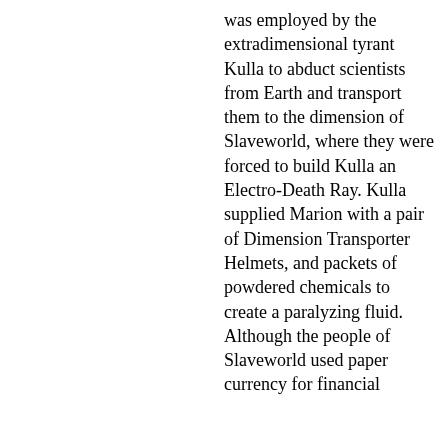was employed by the extradimensional tyrant Kulla to abduct scientists from Earth and transport them to the dimension of Slaveworld, where they were forced to build Kulla an Electro-Death Ray. Kulla supplied Marion with a pair of Dimension Transporter Helmets, and packets of powdered chemicals to create a paralyzing fluid. Although the people of Slaveworld used paper currency for financial